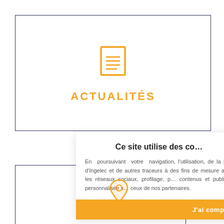[Figure (illustration): Card with orange document/text icon and 'ACTUALITÉS' label in orange uppercase letters, bordered with dark navy border]
[Figure (illustration): Bottom card placeholder bordered with dark navy border, partially visible]
Ce site utilise des c...
En poursuivant votre navigation, l'utilisation, de la part d'Ingelec et de autres traceurs à des fins de mesure avec les réseaux sociaux, profilage, p contenus et publicité personnalisée s ceux de nos partenaires.
J'ai compris